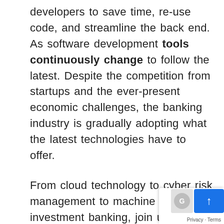developers to save time, re-use code, and streamline the back end. As software development tools continuously change to follow the latest. Despite the competition from startups and the ever-present economic challenges, the banking industry is gradually adopting what the latest technologies have to offer.
From cloud technology to cyber risk management to machine learning in investment banking, join us as we explore the banking industry trends for 2019 and beyond. Cloud is one of the current